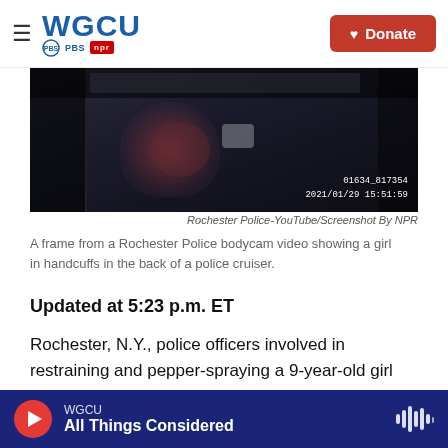WGCU PBS NPR — Donate
[Figure (screenshot): Bodycam footage still frame showing a dark interior of a police cruiser, timestamp reading 01634_817354 2021/01/29 15:51:59]
Rochester Police-YouTube/Screenshot By NPR
A frame from a Rochester Police bodycam video showing a girl in handcuffs in the back of a police cruiser.
Updated at 5:23 p.m. ET
Rochester, N.Y., police officers involved in restraining and pepper-spraying a 9-year-old girl last Friday were suspended Monday by order of Mayor Lovely Warren "at a minimum" until the conclusion of an internal police investigation
WGCU — All Things Considered